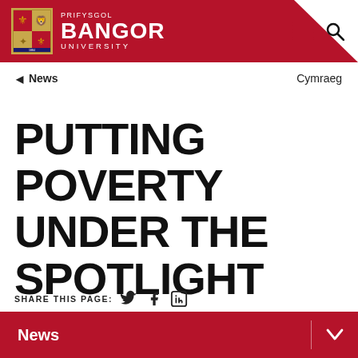PRIFYSGOL BANGOR UNIVERSITY
◀ News   Cymraeg
PUTTING POVERTY UNDER THE SPOTLIGHT
SHARE THIS PAGE:
News